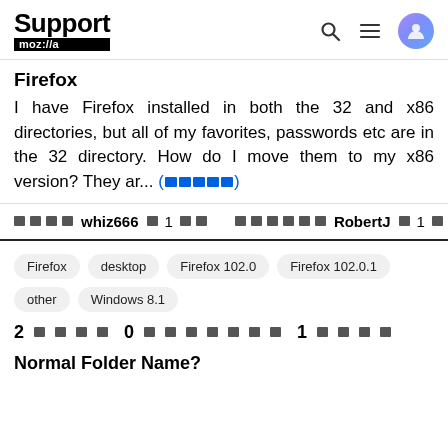Support moz://a
Firefox
I have Firefox installed in both the 32 and x86 directories, but all of my favorites, passwords etc are in the 32 directory. How do I move them to my x86 version? They ar... (more)
whiz666  1   |   RobertJ  1
Firefox  desktop  Firefox 102.0  Firefox 102.0.1  other  Windows 8.1
2 [replies]  0 [something]  1 [something]
Normal Folder Name?